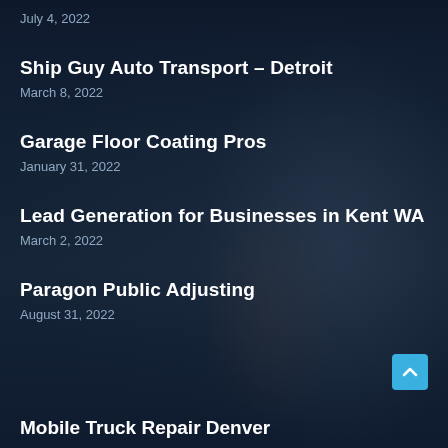July 4, 2022
Ship Guy Auto Transport – Detroit
March 8, 2022
Garage Floor Coating Pros
January 31, 2022
Lead Generation for Businesses in Kent WA
March 2, 2022
Paragon Public Adjusting
August 31, 2022
Mobile Truck Repair Denver